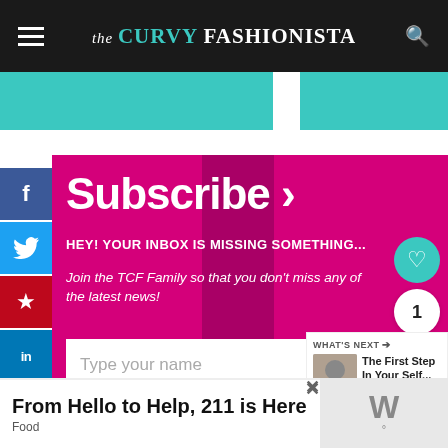the CURVY FASHIONISTA
[Figure (screenshot): Teal/turquoise banner strip below the header]
[Figure (screenshot): Social media sidebar with Facebook, Twitter, Pinterest, LinkedIn buttons]
Subscribe >
HEY! YOUR INBOX IS MISSING SOMETHING...
Join the TCF Family so that you don't miss any of the latest news!
Type your name
Type your email
[Figure (infographic): What's Next panel with thumbnail: The First Step In Your Self...]
From Hello to Help, 211 is Here
Food